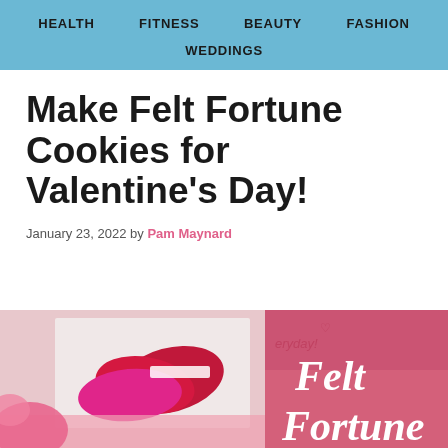HEALTH  FITNESS  BEAUTY  FASHION  WEDDINGS
Make Felt Fortune Cookies for Valentine's Day!
January 23, 2022 by Pam Maynard
[Figure (photo): Photo of felt fortune cookies in pink and red colors; right side shows pink background with text 'Felt Fortune' in white script, with decorative heart and 'eryday!' text]